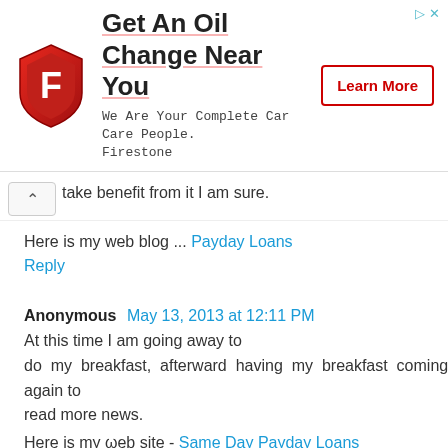[Figure (infographic): Firestone advertisement banner: logo shield with F, heading 'Get An Oil Change Near You', subtext 'We Are Your Complete Car Care People. Firestone', and a 'Learn More' button with red border.]
take benefit from it I am sure.
Here is my web blog ... Payday Loans
Reply
Anonymous May 13, 2013 at 12:11 PM
At this time I am going away to do my breakfast, afterward having my breakfast coming again to read more news.
Here is my web site - Same Day Payday Loans
Reply
Anonymous May 13, 2013 at 5:30 PM